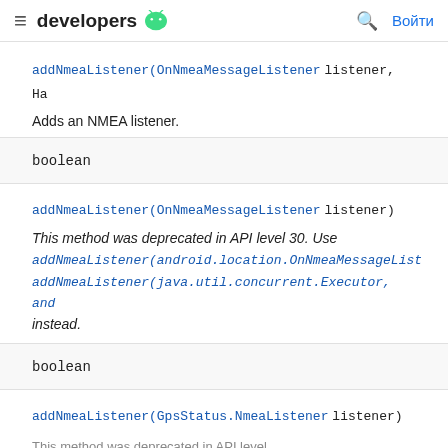≡ developers 🤖  🔍 Войти
addNmeaListener(OnNmeaMessageListener listener, Ha
Adds an NMEA listener.
boolean
addNmeaListener(OnNmeaMessageListener listener)
This method was deprecated in API level 30. Use addNmeaListener(android.location.OnNmeaMessageList addNmeaListener(java.util.concurrent.Executor, and instead.
boolean
addNmeaListener(GpsStatus.NmeaListener listener)